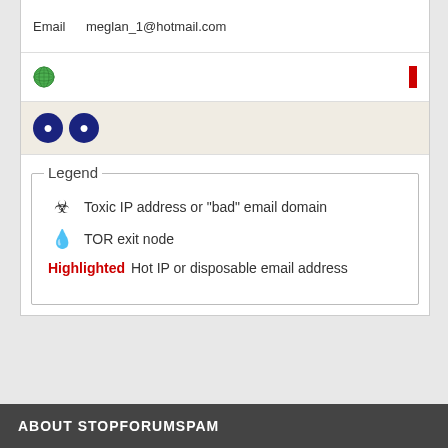Username  bysonvc
Email  meglan_1@hotmail.com
[Figure (infographic): Globe icon and red bar indicator]
[Figure (infographic): Two dark blue circle icons]
Legend
☣ Toxic IP address or "bad" email domain
💧 TOR exit node
Highlighted  Hot IP or disposable email address
ABOUT STOPFORUMSPAM